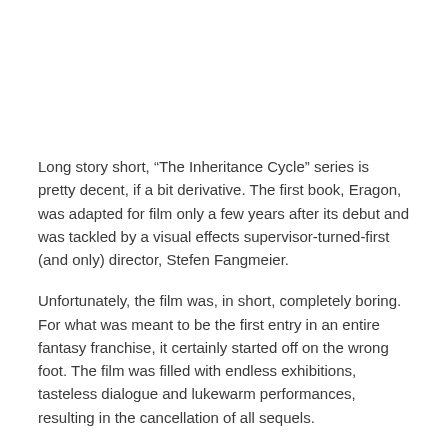Long story short, “The Inheritance Cycle” series is pretty decent, if a bit derivative. The first book, Eragon, was adapted for film only a few years after its debut and was tackled by a visual effects supervisor-turned-first (and only) director, Stefen Fangmeier.
Unfortunately, the film was, in short, completely boring. For what was meant to be the first entry in an entire fantasy franchise, it certainly started off on the wrong foot. The film was filled with endless exhibitions, tasteless dialogue and lukewarm performances, resulting in the cancellation of all sequels.
8 The donor